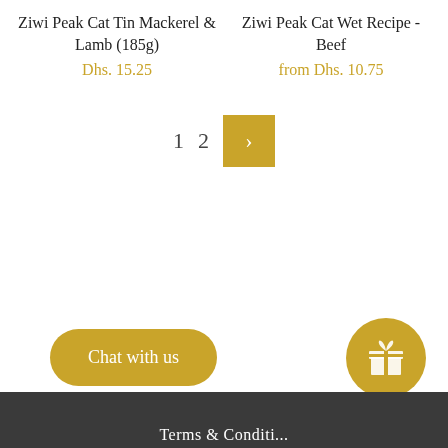Ziwi Peak Cat Tin Mackerel & Lamb (185g)
Dhs. 15.25
Ziwi Peak Cat Wet Recipe - Beef
from Dhs. 10.75
1  2  >
Chat with us
[Figure (illustration): Gift icon button (gold circle with white gift box icon)]
Terms & Conditi...